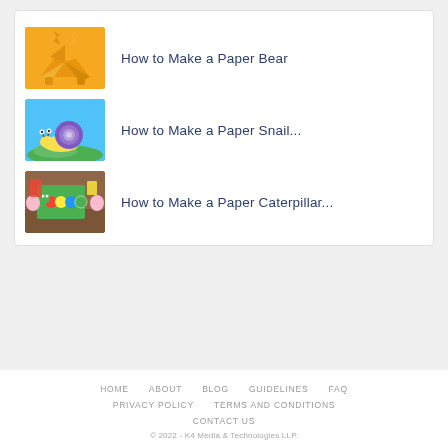How to Make a Paper Bear
How to Make a Paper Snail...
How to Make a Paper Caterpillar...
HOME   ABOUT   BLOG   GUIDELINES   FAQ   PRIVACY POLICY   TERMS AND CONDITIONS   CONTACT US   © 2022 - K4 Media & Technologies LLP.